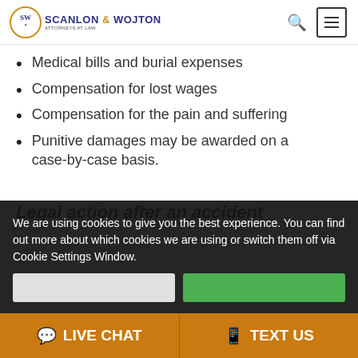Scanlon & Wojton Attorneys at Law
Medical bills and burial expenses
Compensation for lost wages
Compensation for the pain and suffering
Punitive damages may be awarded on a case-by-case basis.
Legal action after an accident
We are using cookies to give you the best experience. You can find out more about which cookies we are using or switch them off via Cookie Settings Window.
LIVE CHAT | TEXT US